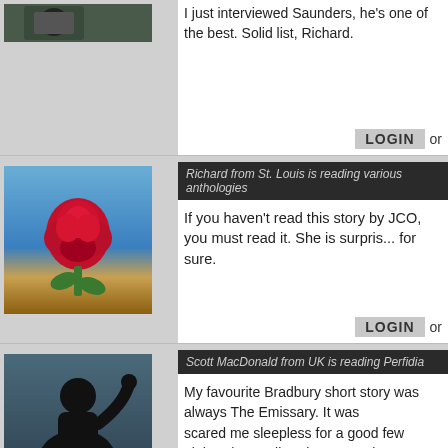I just interviewed Saunders, he's one of the best. Solid list, Richard.
LOGIN or
Richard from St. Louis is reading various anthologies
If you haven't read this story by JCO, you must read it. She is surpris... for sure.
LOGIN or
Scott MacDonald from UK is reading Perfidia
My favourite Bradbury short story was always The Emissary.  It was scared me sleepless for a good few nights.  (***Spoiler Alert*** comi realise part of my enjoyment is that echo from my childhood, but I sti smells  "of strange earth. It was a smell of night within night, the sme shadow through earth that had lain cheek by jowl with thingsthat wer stinking and rancid soil fell away in clods of dissolution from Dog's m